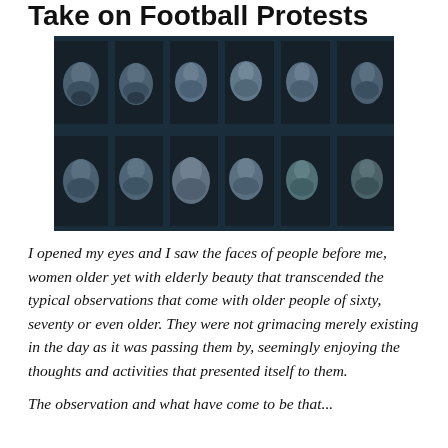Take on Football Protests
[Figure (photo): A dark blue-toned composite image showing 12 human faces arranged in two rows within stone-column niched frames, reminiscent of a Game of Thrones promotional style poster.]
I opened my eyes and I saw the faces of people before me, women older yet with elderly beauty that transcended the typical observations that come with older people of sixty, seventy or even older. They were not grimacing merely existing in the day as it was passing them by, seemingly enjoying the thoughts and activities that presented itself to them.
The observation and what have come to be that...